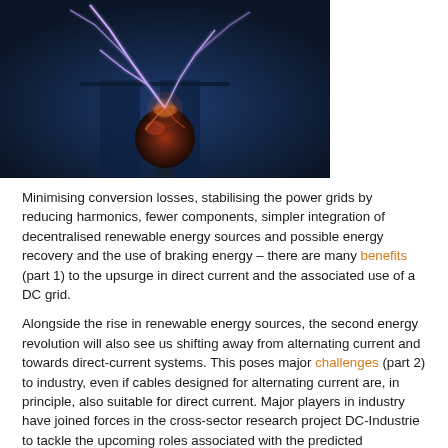[Figure (photo): A Tesla coil with bright purple-white lightning bolts emanating from a dark sphere at the top, set against a dark blue background. The image shows dramatic electrical discharge arcing upward.]
Minimising conversion losses, stabilising the power grids by reducing harmonics, fewer components, simpler integration of decentralised renewable energy sources and possible energy recovery and the use of braking energy – there are many benefits (part 1) to the upsurge in direct current and the associated use of a DC grid.
Alongside the rise in renewable energy sources, the second energy revolution will also see us shifting away from alternating current and towards direct-current systems. This poses major challenges (part 2) to industry, even if cables designed for alternating current are, in principle, also suitable for direct current. Major players in industry have joined forces in the cross-sector research project DC-Industrie to tackle the upcoming roles associated with the predicted revolution.